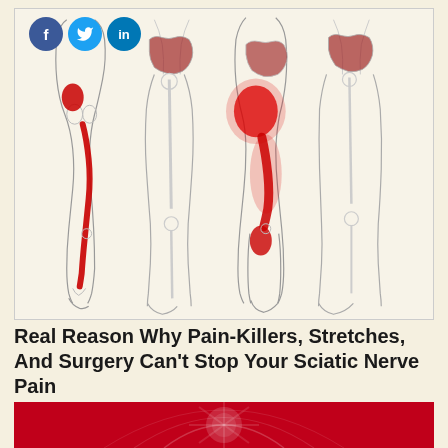[Figure (illustration): Medical illustration showing four views of human legs and hips with red pain areas indicating sciatic nerve pain patterns. Social media icons (Facebook, Twitter, LinkedIn) overlay top-left corner. The illustrations show different patterns of referred pain from the sciatic nerve — including a stripe down the back of the leg, and patches on the buttock, thigh, and calf.]
Real Reason Why Pain-Killers, Stretches, And Surgery Can't Stop Your Sciatic Nerve Pain
🔥 30,737
[Figure (illustration): Partial view of a red decorative banner at the bottom of the page]